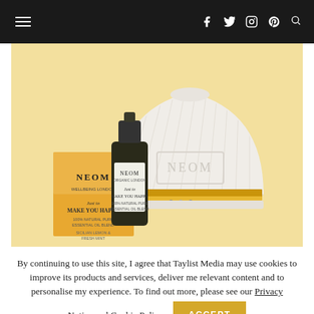Navigation bar with hamburger menu, social icons (Facebook, Twitter, Instagram, Pinterest) and search
[Figure (photo): NEOM branded essential oil diffuser (white dome-shaped ceramic diffuser with gold accent band showing NEOM logo) alongside a small dark glass bottle of NEOM essential oil and its product packaging box, on a pale yellow background]
By continuing to use this site, I agree that Taylist Media may use cookies to improve its products and services, deliver me relevant content and to personalise my experience. To find out more, please see our Privacy Notice and Cookie Policy
ACCEPT